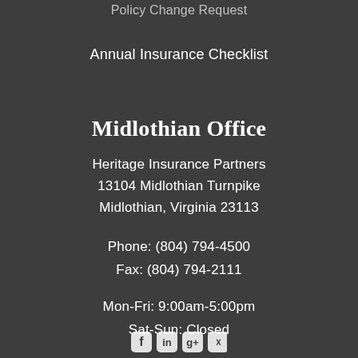Policy Change Request
Annual Insurance Checklist
Midlothian Office
Heritage Insurance Partners
13104 Midlothian Turnpike
Midlothian, Virginia 23113
Phone: (804) 794-4500
Fax: (804) 794-2111
Mon-Fri: 9:00am-5:00pm
Sat-Sun: Closed
[Figure (other): Social media icons (Facebook, LinkedIn, Google+, Instagram) at the bottom of the page, partially visible]